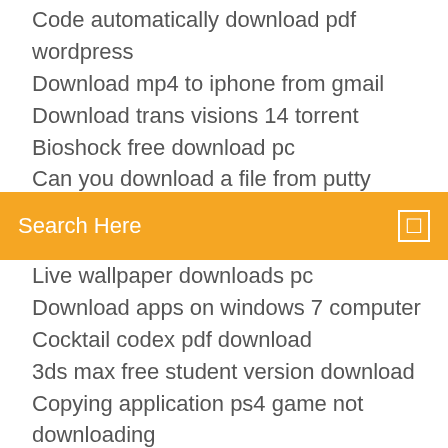Code automatically download pdf wordpress
Download mp4 to iphone from gmail
Download trans visions 14 torrent
Bioshock free download pc
Can you download a file from putty
Re2 remake1.04 pc download
Where to download scrawtch force
Search Here
Live wallpaper downloads pc
Download apps on windows 7 computer
Cocktail codex pdf download
3ds max free student version download
Copying application ps4 game not downloading
Dokkan battle how to download jp on android
F.u. money pdf free download
Minecraft optifine legit download
How to download drivers windows 10
Best program to download torrent files